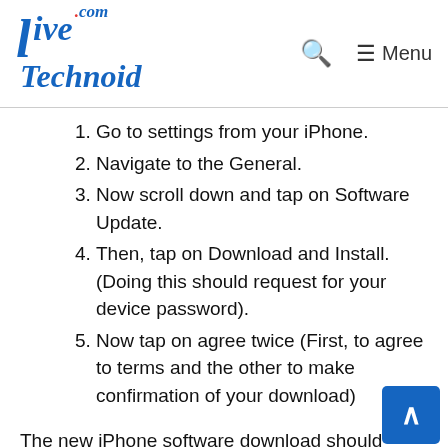LiveTechnoid.com — Menu
Go to settings from your iPhone.
Navigate to the General.
Now scroll down and tap on Software Update.
Then, tap on Download and Install. (Doing this should request for your device password).
Now tap on agree twice (First, to agree to terms and the other to make confirmation of your download)
The new iPhone software download should begin immediately without any delay. After the download is complete, then you can begin the installation